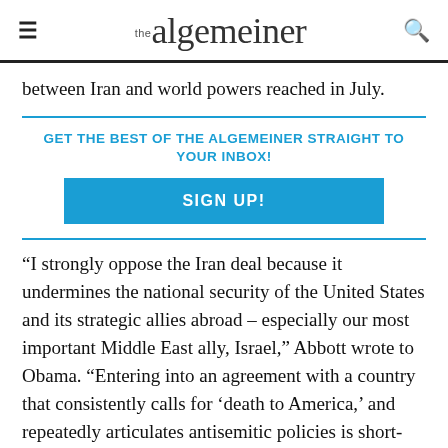the algemeiner
between Iran and world powers reached in July.
GET THE BEST OF THE ALGEMEINER STRAIGHT TO YOUR INBOX!
SIGN UP!
“I strongly oppose the Iran deal because it undermines the national security of the United States and its strategic allies abroad – especially our most important Middle East ally, Israel,” Abbott wrote to Obama. “Entering into an agreement with a country that consistently calls for ‘death to America,’ and repeatedly articulates antisemitic policies is short-sighted and ignores